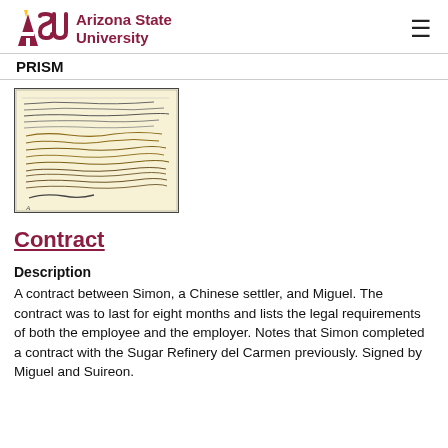ASU Arizona State University
PRISM
[Figure (photo): Photograph of a historical handwritten contract document on aged paper with cursive script in multiple lines.]
Contract
Description
A contract between Simon, a Chinese settler, and Miguel. The contract was to last for eight months and lists the legal requirements of both the employee and the employer. Notes that Simon completed a contract with the Sugar Refinery del Carmen previously. Signed by Miguel and Suireon.